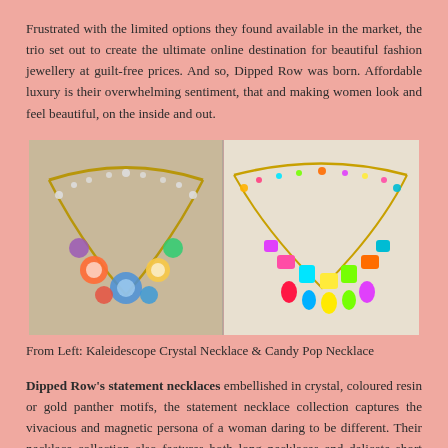Frustrated with the limited options they found available in the market, the trio set out to create the ultimate online destination for beautiful fashion jewellery at guilt-free prices. And so, Dipped Row was born. Affordable luxury is their overwhelming sentiment, that and making women look and feel beautiful, on the inside and out.
[Figure (photo): Two colorful statement necklaces side by side: a Kaleidoscope Crystal Necklace on the left and a Candy Pop Necklace on the right]
From Left: Kaleidescope Crystal Necklace & Candy Pop Necklace
Dipped Row's statement necklaces embellished in crystal, coloured resin or gold panther motifs, the statement necklace collection captures the vivacious and magnetic persona of a woman daring to be different. Their necklace collection also features both long necklaces and delicate short necklaces to suit any taste or ensemble. Eye-catching yet versatile, they play with different styles and materials such as tortoiseshell links and handmade sterling silver. In a necklace, they prefer a double-face stone for depth of colour so that it sparkles from all angles.